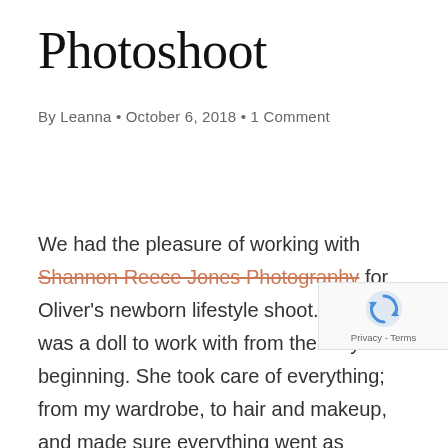Photoshoot
By Leanna • October 6, 2018 • 1 Comment
We had the pleasure of working with Shannon Reece Jones Photography for Oliver's newborn lifestyle shoot. Shannon was a doll to work with from the very beginning. She took care of everything; from my wardrobe, to hair and makeup, and made sure everything went as smooth as possible.
[Figure (logo): reCAPTCHA badge with spinning arrows logo and Privacy - Terms text]